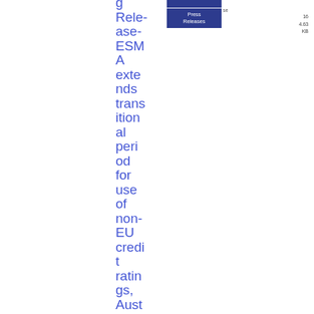Press Release-ESMA extends transitional period for use of non-EU credit ratings, Australia
Press Releases
se
16
4.63 KB